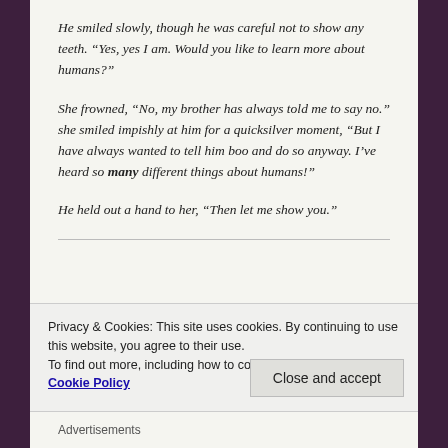He smiled slowly, though he was careful not to show any teeth. “Yes, yes I am. Would you like to learn more about humans?”
She frowned, “No, my brother has always told me to say no.” she smiled impishly at him for a quicksilver moment, “But I have always wanted to tell him boo and do so anyway. I’ve heard so many different things about humans!”
He held out a hand to her, “Then let me show you.”
Privacy & Cookies: This site uses cookies. By continuing to use this website, you agree to their use.
To find out more, including how to control cookies, see here: Cookie Policy
Close and accept
Advertisements